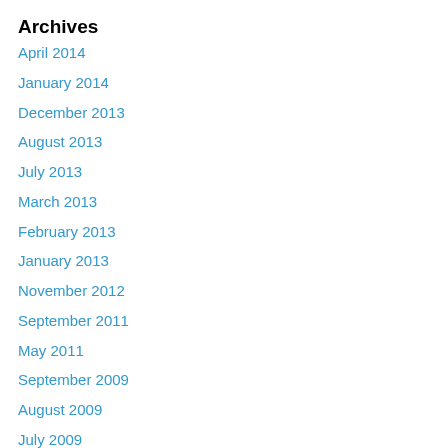Archives
April 2014
January 2014
December 2013
August 2013
July 2013
March 2013
February 2013
January 2013
November 2012
September 2011
May 2011
September 2009
August 2009
July 2009
June 2009
May 2009
April 2009
March 2009